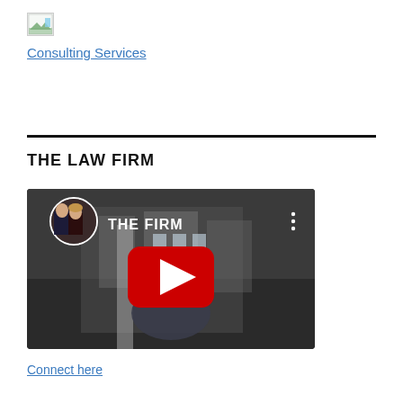[Figure (logo): Small broken/placeholder image icon in top-left corner]
Consulting Services
THE LAW FIRM
[Figure (screenshot): YouTube video embed thumbnail showing 'THE FIRM' with two people in circular avatar, red YouTube play button, dark background showing an office building exterior]
Connect here